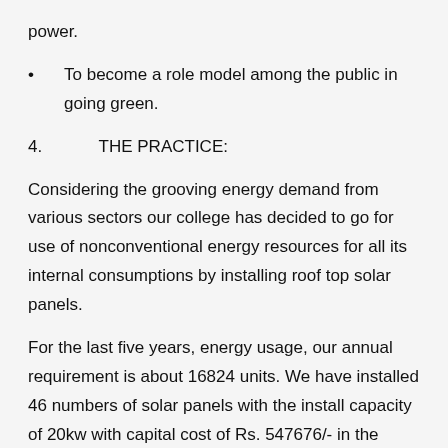power.
To become a role model among the public in going green.
4.            THE PRACTICE:
Considering the grooving energy demand from various sectors our college has decided to go for use of nonconventional energy resources for all its internal consumptions by installing roof top solar panels.
For the last five years, energy usage, our annual requirement is about 16824 units. We have installed 46 numbers of solar panels with the install capacity of 20kw with capital cost of Rs. 547676/- in the month of November 2018. Solar system has given excellent results which have generated 37372 units of solar energy for November 2018 to July 2020. On an